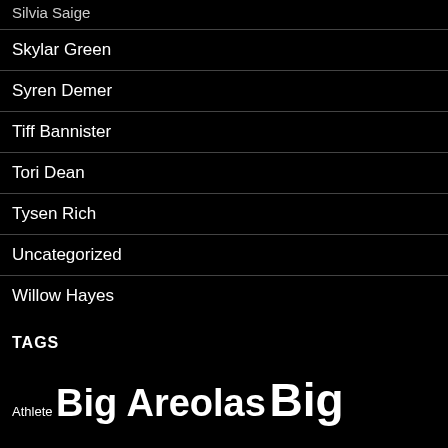Silvia Saige
Skylar Green
Syren Demer
Tiff Bannister
Tori Dean
Tysen Rich
Uncategorized
Willow Hayes
TAGS
Athlete Big Areolas Big Boobs Big Nipples Bikini Black Hair Blonde Blowjob Bras Brunette Deep Throat Enhanced...